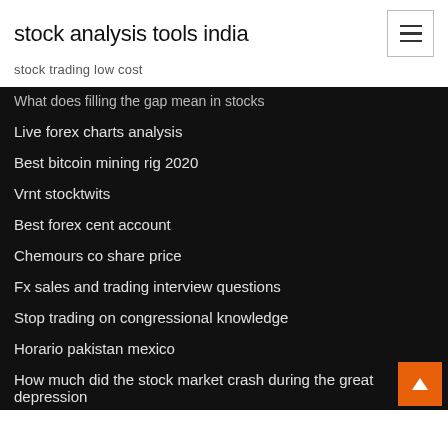stock analysis tools india
stock trading low cost
What does filling the gap mean in stocks
Live forex charts analysis
Best bitcoin mining rig 2020
Vrnt stocktwits
Best forex cent account
Chemours co share price
Fx sales and trading interview questions
Stop trading on congressional knowledge
Horario pakistan mexico
How much did the stock market crash during the great depression